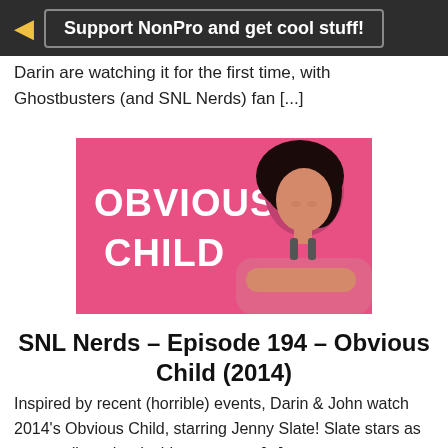Support NonPro and get cool stuff!
Darin are watching it for the first time, with Ghostbusters (and SNL Nerds) fan [...]
[Figure (photo): Movie poster for Obvious Child - pink background with bold white text 'OBVIOUS CHILD' on the left and a woman with dark curly hair resting her chin on her arms on the right]
SNL Nerds – Episode 194 – Obvious Child (2014)
Inspired by recent (horrible) events, Darin & John watch 2014's Obvious Child, starring Jenny Slate! Slate stars as a comedian who decides to get an [...]